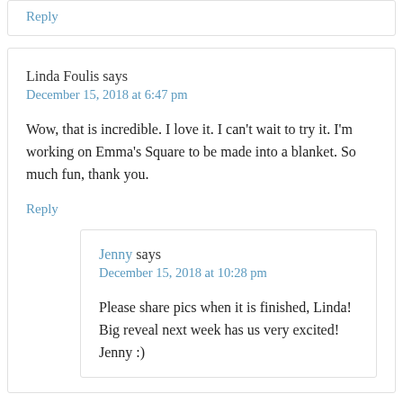Reply
Linda Foulis says
December 15, 2018 at 6:47 pm
Wow, that is incredible. I love it. I can't wait to try it. I'm working on Emma's Square to be made into a blanket. So much fun, thank you.
Reply
Jenny says
December 15, 2018 at 10:28 pm
Please share pics when it is finished, Linda! Big reveal next week has us very excited! Jenny :)